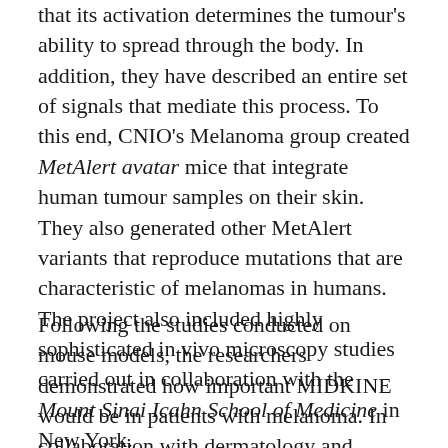that its activation determines the tumour's ability to spread through the body. In addition, they have described an entire set of signals that mediate this process. To this end, CNIO's Melanoma group created MetAlert avatar mice that integrate human tumour samples on their skin. They also generated other MetAlert variants that reproduce mutations that are characteristic of melanomas in humans. The project also included highly sophisticated in vivo microscopy studies carried out in collaboration with the Mount Sinai Icahn School of Medicine in New York.
Following the studies conducted on mouse models, the researchers demonstrated how important MIDKINE would be in patients with melanoma. In collaboration with dermatology and pathology experts at the Hospital 12 de